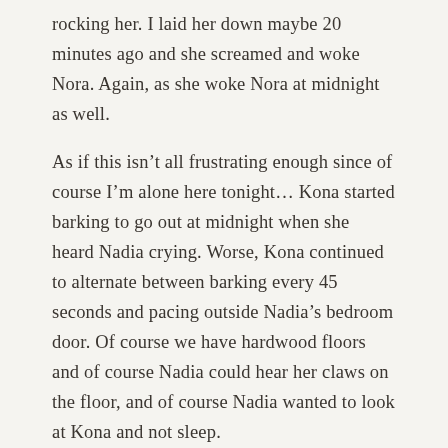rocking her. I laid her down maybe 20 minutes ago and she screamed and woke Nora. Again, as she woke Nora at midnight as well.
As if this isn’t all frustrating enough since of course I’m alone here tonight… Kona started barking to go out at midnight when she heard Nadia crying. Worse, Kona continued to alternate between barking every 45 seconds and pacing outside Nadia’s bedroom door. Of course we have hardwood floors and of course Nadia could hear her claws on the floor, and of course Nadia wanted to look at Kona and not sleep.
I let Kona out, which then she refused to come in. Funny, I didn’t see anyone else out in their pjs dragging in their barking dog at this hour.